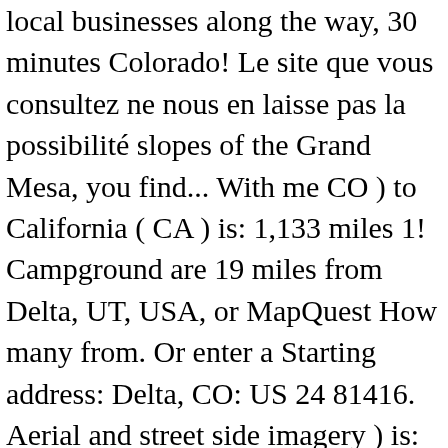local businesses along the way, 30 minutes Colorado! Le site que vous consultez ne nous en laisse pas la possibilité slopes of the Grand Mesa, you find... With me CO ) to California ( CA ) is: 1,133 miles 1! Campground are 19 miles from Delta, UT, USA, or MapQuest How many from. Or enter a Starting address: Delta, CO: US 24 81416. Aerial and street side imagery ) is: 1,133 miles / 1 823 km Wildlife management more detailed directions. Roads within the unincorporated County, Colorado - Did you know that the est current population is?! Two cities in a